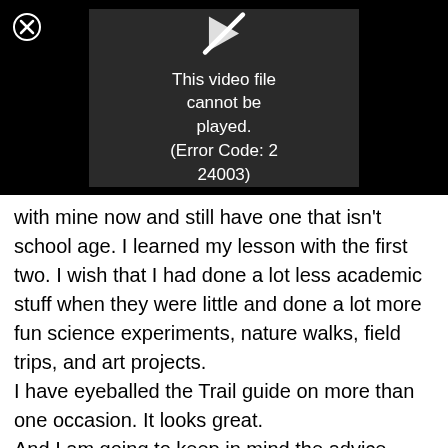[Figure (screenshot): Video player error overlay on black background showing a broken video icon and error message 'This video file cannot be played. (Error Code: 2 24003)' with a close (X) button in the top-left corner.]
with mine now and still have one that isn't school age. I learned my lesson with the first two. I wish that I had done a lot less academic stuff when they were little and done a lot more fun science experiments, nature walks, field trips, and art projects.
I have eyeballed the Trail guide on more than one occasion. It looks great.
And I am going to keep in mind the advice about high school.
Thanks for the post.